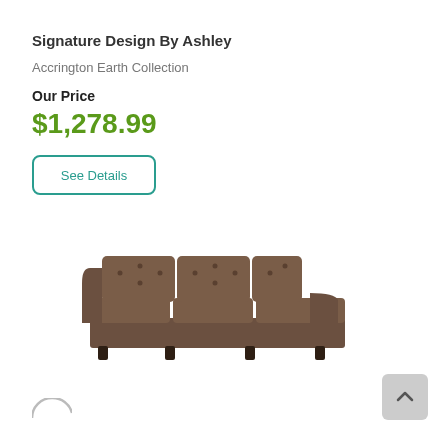Signature Design By Ashley
Accrington Earth Collection
Our Price
$1,278.99
See Details
[Figure (photo): Brown tufted sectional sofa with chaise lounge on the right side, photographed on white background]
[Figure (other): Scroll to top button (gray rounded square with upward chevron arrow)]
[Figure (other): Partial circular icon at bottom left, partially cut off]